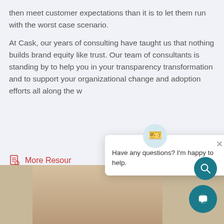then meet customer expectations than it is to let them run with the worst case scenario.
At Cask, our years of consulting have taught us that nothing builds brand equity like trust. Our team of consultants is standing by to help you in your transparency transformation and to support your organizational change and adoption efforts all along the w…
More Resour…
[Figure (photo): Partial view of a person with light hair, bottom portion of page]
[Figure (screenshot): Chat popup widget: icon at top, close X button, text 'Have any questions? I'm happy to help.']